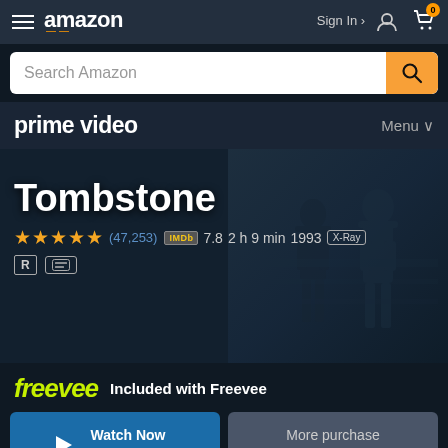amazon  Sign In  0
Search Amazon
prime video  Menu
Tombstone
★★★★★ (47,253)  IMDb 7.8  2 h 9 min  1993  X-Ray  R  [CC]
freevee  Included with Freevee
Watch Now Free with Ads
More purchase options